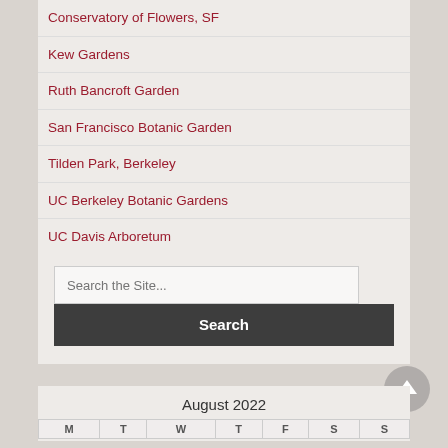Conservatory of Flowers, SF
Kew Gardens
Ruth Bancroft Garden
San Francisco Botanic Garden
Tilden Park, Berkeley
UC Berkeley Botanic Gardens
UC Davis Arboretum
Search the Site...
Search
August 2022
| M | T | W | T | F | S | S |
| --- | --- | --- | --- | --- | --- | --- |